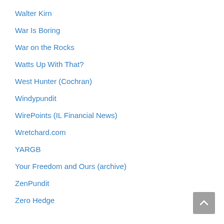Walter Kirn
War Is Boring
War on the Rocks
Watts Up With That?
West Hunter (Cochran)
Windypundit
WirePoints (IL Financial News)
Wretchard.com
YARGB
Your Freedom and Ours (archive)
ZenPundit
Zero Hedge